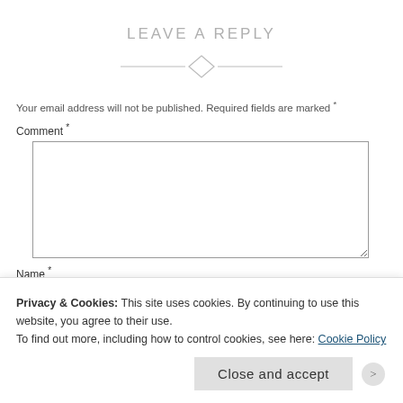LEAVE A REPLY
[Figure (illustration): Decorative horizontal divider with diamond shape in center]
Your email address will not be published. Required fields are marked *
Comment *
Name *
Privacy & Cookies: This site uses cookies. By continuing to use this website, you agree to their use.
To find out more, including how to control cookies, see here: Cookie Policy
Close and accept